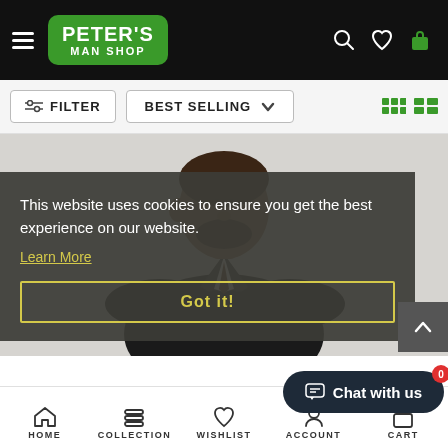PETER'S MAN SHOP
FILTER   BEST SELLING
[Figure (photo): Man in dark suit with beard and tie, product listing photo for men's clothing store]
This website uses cookies to ensure you get the best experience on our website.
Learn More
Got it!
HOME   COLLECTION   WISHLIST   ACCOUNT   CART